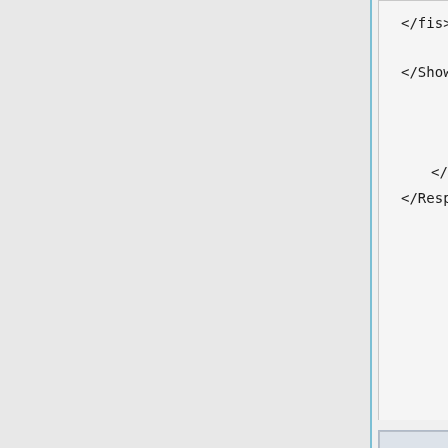</fis>
</Show>
</Shows>
</Film>
</Films>
</ShowSchedule>
</Response>
| Node | Child Node | Type | Required | [Expanded] Description <Reque... |
| --- | --- | --- | --- | --- |
| Node | Child Node | Type | Required | Desc... <ShowS... |
| --- | --- | --- | --- | --- |
| Node | Child Node | Type | Required | [Expanded] Descrip... <Ticke... |
| --- | --- | --- | --- | --- |